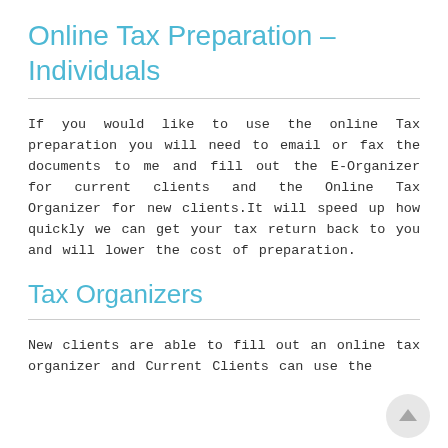Online Tax Preparation - Individuals
If you would like to use the online Tax preparation you will need to email or fax the documents to me and fill out the E-Organizer for current clients and the Online Tax Organizer for new clients.It will speed up how quickly we can get your tax return back to you and will lower the cost of preparation.
Tax Organizers
New clients are able to fill out an online tax organizer and Current Clients can use the